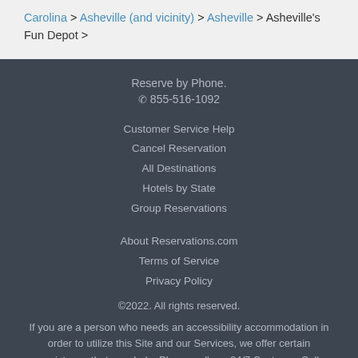Carolina > Asheville (and vicinity) > Asheville > Asheville's Fun Depot >
Reserve by Phone.
☎ 855-516-1092
Customer Service Help
Cancel Reservation
All Destinations
Hotels by State
Group Reservations
About Reservations.com
Terms of Service
Privacy Policy
©2022. All rights reserved.
If you are a person who needs an accessibility accommodation in order to utilize this Site and our Services, we offer certain assistance that may help. Please call our 24/7 Customer Call Center at  1800-916-4339 .